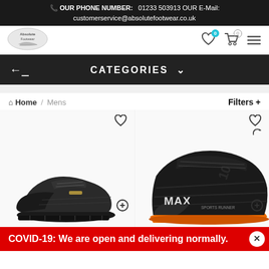OUR PHONE NUMBER: 01233 503913 OUR E-Mail: customerservice@absolutefootwear.co.uk
[Figure (logo): Absolute Footwear logo - oval shaped logo with shoe icon]
CATEGORIES
Home / Mens
Filters +
[Figure (photo): Black lace-up sneaker/trainer shoe on white background, left product]
[Figure (photo): Black and orange trainer/sneaker shoe with branding text on white background, right product]
COVID-19: We are open and delivering normally.